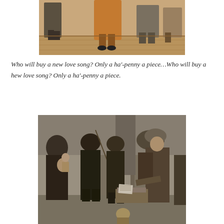[Figure (illustration): Top portion of a historical illustration showing figures in period dress walking, partial crop showing lower bodies and feet on a wooden floor.]
Who will buy a new love song? Only a ha'-penny a piece…Who will buy a hew love song? Only a ha'-penny a piece.
[Figure (illustration): Historical engraving showing a group of people in 18th-century dress gathered around a woman selling ballads or broadsheets. A woman in a bonnet on the right offers papers from a box to several men including one holding a child, set against large stone columns.]